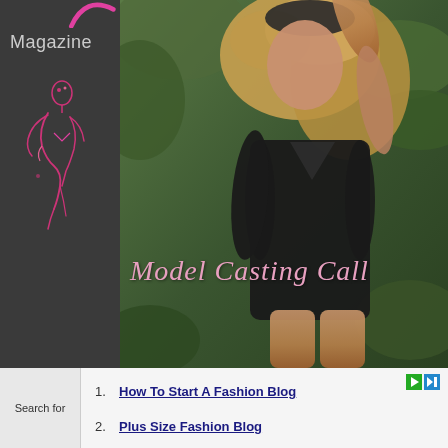Magazine
[Figure (illustration): Stylized feminine figure illustration in pink/magenta lines on dark background, decorative logo element]
[Figure (photo): Model in black long-sleeve bodysuit posing against green foliage background, blonde curly hair, arm raised]
Model Casting Call
Search for
1. How To Start A Fashion Blog
2. Plus Size Fashion Blog